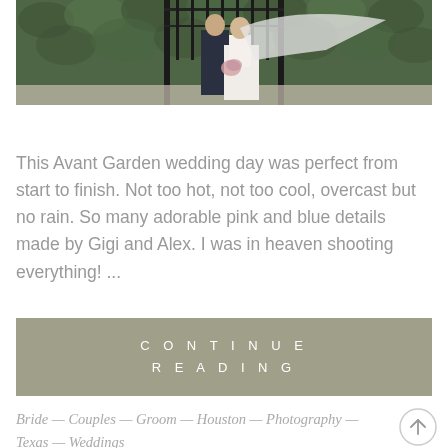[Figure (photo): Wedding couple standing in front of green ivy-covered iron gate. Groom in dark suit, bride in white dress with flowing veil billowing in the wind, holding a bouquet.]
This Avant Garden wedding day was perfect from start to finish. Not too hot, not too cool, overcast but no rain. So many adorable pink and blue details made by Gigi and Alex. I was in heaven shooting everything! ...
CONTINUE READING
Bride — Couples — Groom — Houston — Photography — Texas — Weddings